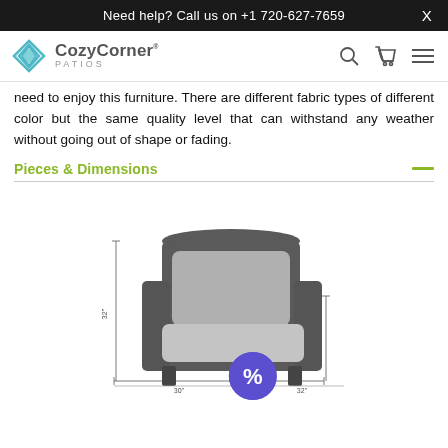Need help? Call us on +1 720-627-7659  X
[Figure (logo): CozyCorner Patios logo with teal diamond icon and brand name]
need to enjoy this furniture. There are different fabric types of different color but the same quality level that can withstand any weather without going out of shape or fading.
Pieces & Dimensions
[Figure (engineering-diagram): Product dimension diagram of a wicker armchair with gray cushions, showing dimension lines and measurements. A purple discount badge with percent symbol overlays the bottom center.]